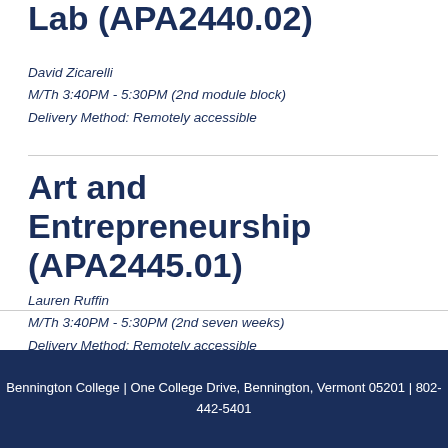Lab (APA2440.02)
David Zicarelli
M/Th 3:40PM - 5:30PM (2nd module block)
Delivery Method: Remotely accessible
Art and Entrepreneurship (APA2445.01)
Lauren Ruffin
M/Th 3:40PM - 5:30PM (2nd seven weeks)
Delivery Method: Remotely accessible
Bennington College  |  One College Drive, Bennington, Vermont 05201  |  802-442-5401